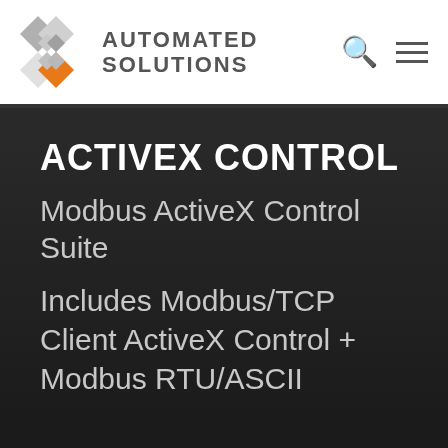AUTOMATED SOLUTIONS
ACTIVEX CONTROL
Modbus ActiveX Control Suite
Includes Modbus/TCP Client ActiveX Control + Modbus RTU/ASCII